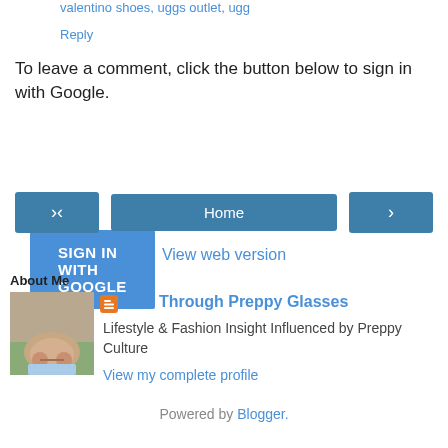valentino shoes, uggs outlet, ugg
Reply
To leave a comment, click the button below to sign in with Google.
[Figure (other): Blue 'SIGN IN WITH GOOGLE' button]
[Figure (other): Navigation bar with left arrow, Home button, and right arrow]
View web version
About Me
[Figure (photo): Photo of pink/tan boat shoes on feet with light blue jeans, standing on grass]
Life Through Preppy Glasses
Lifestyle & Fashion Insight Influenced by Preppy Culture
View my complete profile
Powered by Blogger.